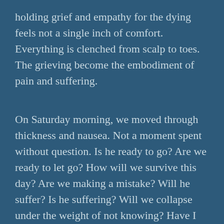holding grief and empathy for the dying feels not a single inch of comfort. Everything is clenched from scalp to toes. The grieving become the embodiment of pain and suffering.
On Saturday morning, we moved through thickness and nausea. Not a moment spent without question. Is he ready to go? Are we ready to let go? How will we survive this day? Are we making a mistake? Will he suffer? Is he suffering? Will we collapse under the weight of not knowing? Have I misread the signs? From his advance directive and five wishes, have I betrayed him by waiting this long? Have I betrayed him by not waiting long enough? Will my knees fall out from under me? Have I